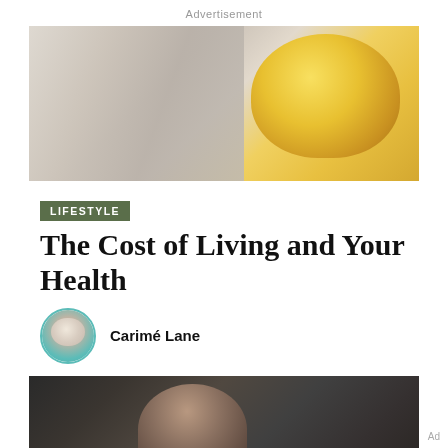Advertisement
[Figure (photo): Close-up photo of a yellow lemon or citrus fruit resting on a white knit fabric or mesh bag against a light background]
LIFESTYLE
The Cost of Living and Your Health
Carimé Lane
[Figure (photo): Photo of a woman with dark hair in profile view, sitting indoors with bookshelves in the background, in a dark/moody setting]
Ad